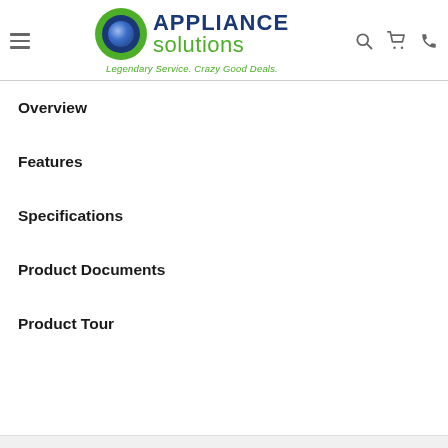Appliance Solutions — Legendary Service. Crazy Good Deals.
Overview
Features
Specifications
Product Documents
Product Tour